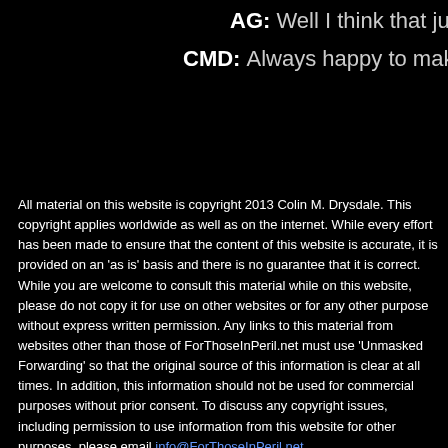AG: Well I think that just about c
CMD: Always happy to make ti
All material on this website is copyright 2013 Colin M. Drysdale. This copyright applies worldwide as well as on the internet. While every effort has been made to ensure that the content of this website is accurate, it is provided on an 'as is' basis and there is no guarantee that it is correct. While you are welcome to consult this material while on this website, please do not copy it for use on other websites or for any other purpose without express written permission. Any links to this material from websites other than those of ForThoseInPeril.net must use 'Unmasked Forwarding' so that the original source of this information is clear at all times. In addition, this information should not be used for commercial purposes without prior consent. To discuss any copyright issues, including permission to use information from this website for other purposes, please email info@ForThoseInPeril.net
Send mail to webmaster@ForThoseInPeril.net with questions or comments about this web site.
Last modified: 03/14/14